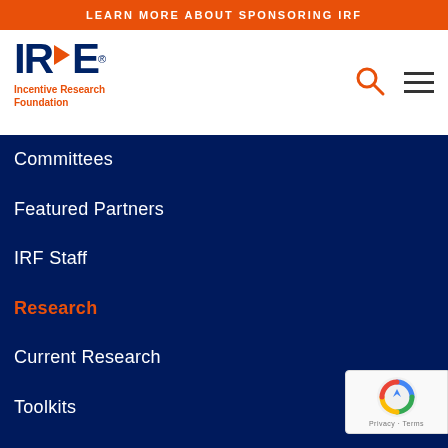LEARN MORE ABOUT SPONSORING IRF
[Figure (logo): IRF - Incentive Research Foundation logo with orange arrow between I and F letters]
Committees
Featured Partners
IRF Staff
Research
Current Research
Toolkits
Legacy Research
Academic Insights